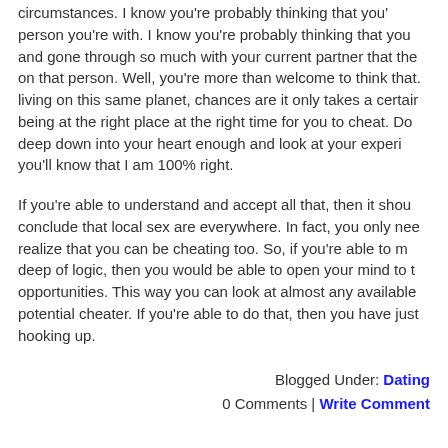circumstances. I know you're probably thinking that you' person you're with. I know you're probably thinking that you and gone through so much with your current partner that the on that person. Well, you're more than welcome to think that. living on this same planet, chances are it only takes a certair being at the right place at the right time for you to cheat. Do deep down into your heart enough and look at your experi you'll know that I am 100% right.
If you're able to understand and accept all that, then it shou conclude that local sex are everywhere. In fact, you only nee realize that you can be cheating too. So, if you're able to m deep of logic, then you would be able to open your mind to t opportunities. This way you can look at almost any available potential cheater. If you're able to do that, then you have just hooking up.
Blogged Under: Dating
0 Comments | Write Comment